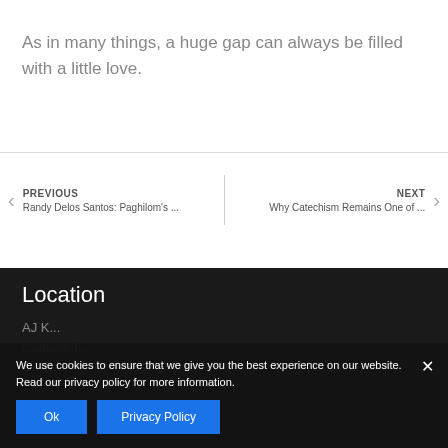As in many things, a huge gap can always be filled with a little love.
PREVIOUS Randy Delos Santos: Paghilom's ...
NEXT Why Catechism Remains One of ...
Location
AJ K...
Catholic T...
1916 Tayuman Street, Sta. Cruz, Manila
We use cookies to ensure that we give you the best experience on our website. Read our privacy policy for more information.